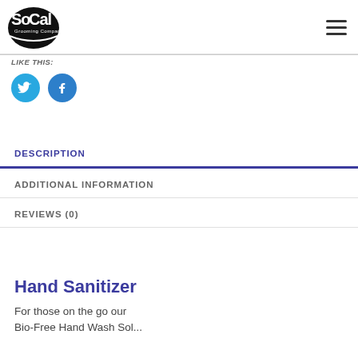SoCal Grooming Company
LIKE THIS:
[Figure (logo): Twitter bird icon in blue circle]
[Figure (logo): Facebook f icon in blue circle]
DESCRIPTION
ADDITIONAL INFORMATION
REVIEWS (0)
Hand Sanitizer
For those on the go our
Bio-Free Hand Wash Sol...